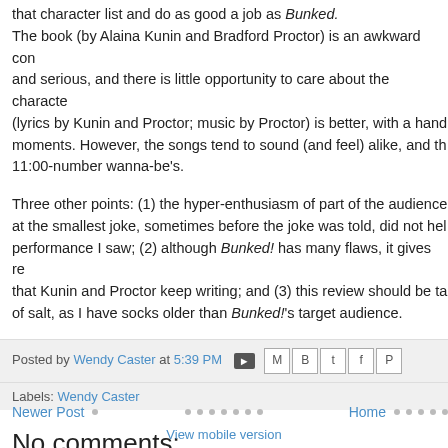that character list and do as good a job as Bunked. The book (by Alaina Kunin and Bradford Proctor) is an awkward con and serious, and there is little opportunity to care about the characte (lyrics by Kunin and Proctor; music by Proctor) is better, with a hand moments. However, the songs tend to sound (and feel) alike, and th 11:00-number wanna-be's.
Three other points: (1) the hyper-enthusiasm of part of the audience at the smallest joke, sometimes before the joke was told, did not hel performance I saw; (2) although Bunked! has many flaws, it gives re that Kunin and Proctor keep writing; and (3) this review should be ta of salt, as I have socks older than Bunked!'s target audience.
Posted by Wendy Caster at 5:39 PM  Labels: Wendy Caster
No comments:
Post a Comment
Newer Post   Home
View mobile version